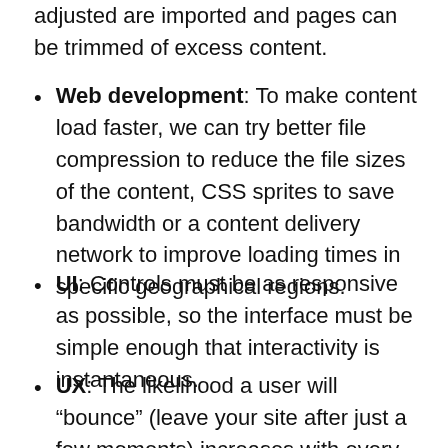adjusted are imported and pages can be trimmed of excess content.
Web development: To make content load faster, we can try better file compression to reduce the file sizes of the content, CSS sprites to save bandwidth or a content delivery network to improve loading times in specific geographical regions.
UI: Controls must be as responsive as possible, so the interface must be simple enough that interactivity is instantaneous.
UX: The likelihood a user will “bounce” (leave your site after just a few moments) increases with every second of loading